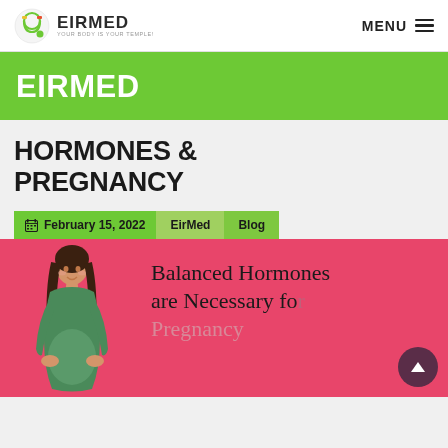EIRMED YOUR BODY IS YOUR TEMPLE! — MENU
EIRMED
HORMONES & PREGNANCY
February 15, 2022   EirMed   Blog
[Figure (illustration): Pink background card showing a stylized illustration of a pregnant woman in a green top alongside the text 'Balanced Hormones are Necessary for Pregnancy']
Balanced Hormones are Necessary for Pregnancy